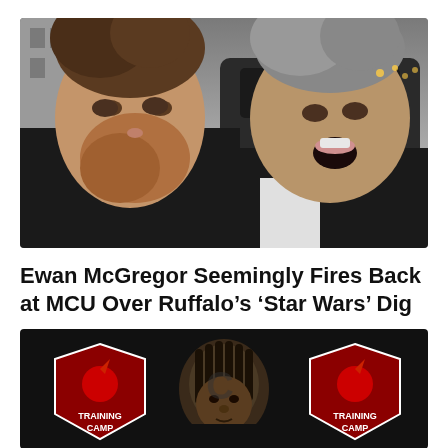[Figure (photo): Two men photographed outdoors. On the left, a man with brown hair and a red-brown beard wearing a dark jacket. On the right, a man with grey hair and an open-mouthed expression wearing a dark suit, with a car visible in the background.]
Ewan McGregor Seemingly Fires Back at MCU Over Ruffalo’s ‘Star Wars’ Dig
[Figure (photo): A man with dreadlocks stands in front of a dark background with Arizona Cardinals Training Camp logos visible on either side.]